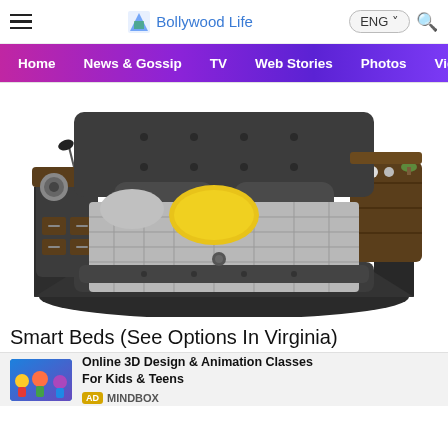Bollywood Life
[Figure (screenshot): Website navigation bar with Home, News & Gossip, TV, Web Stories, Photos, Video tabs on a purple/pink gradient background]
[Figure (photo): A modern smart bed with dark grey upholstery, built-in wooden storage side tables, speakers, charging ports, yellow accent pillow, and grey checkered bedding]
Smart Beds (See Options In Virginia)
[Figure (screenshot): Advertisement: Online 3D Design & Animation Classes For Kids & Teens by MINDBOX, with colorful animated characters thumbnail]